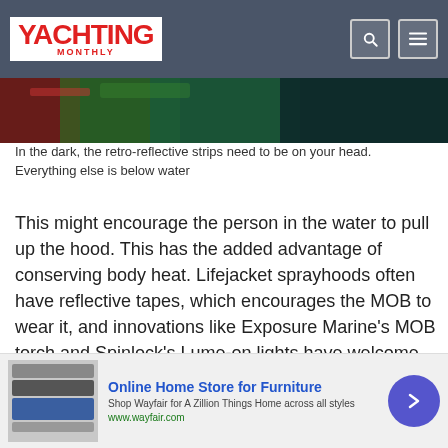YACHTING MONTHLY
[Figure (photo): Close-up of colorful retro-reflective material/fabric in dark and green/red tones]
In the dark, the retro-reflective strips need to be on your head. Everything else is below water
This might encourage the person in the water to pull up the hood. This has the added advantage of conserving body heat. Lifejacket sprayhoods often have reflective tapes, which encourages the MOB to wear it, and innovations like Exposure Marine’s MOB torch and Spinlock’s Lume-on lights have welcome safety benefits for MOB at night.
[Figure (photo): Dark nighttime photo with a bright light point visible]
Online Home Store for Furniture Shop Wayfair for A Zillion Things Home across all styles www.wayfair.com